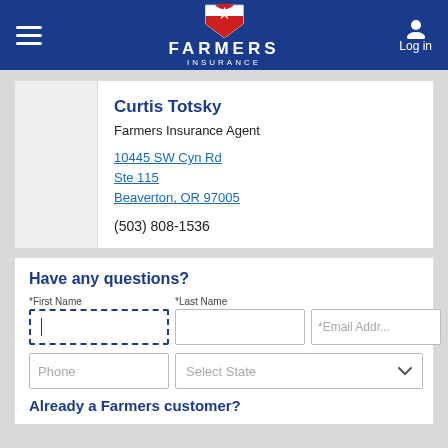[Figure (logo): Farmers Insurance logo with shield emblem and text FARMERS INSURANCE on dark blue header bar]
Curtis Totsky
Farmers Insurance Agent
10445 SW Cyn Rd
Ste 115
Beaverton, OR 97005
(503) 808-1536
Have any questions?
*First Name
*Last Name
*Email Addr...
Phone
Select State
Already a Farmers customer?